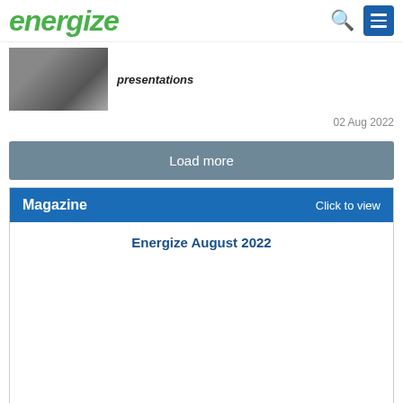energize
presentations
02 Aug 2022
Load more
Magazine   Click to view
Energize August 2022